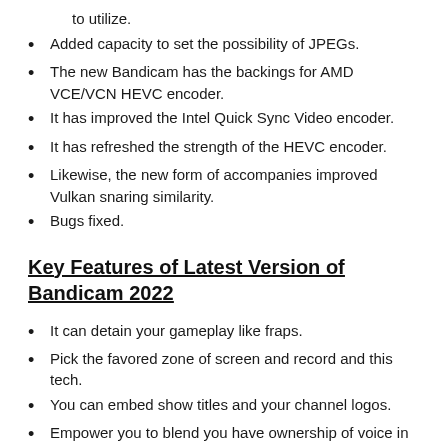to utilize.
Added capacity to set the possibility of JPEGs.
The new Bandicam has the backings for AMD VCE/VCN HEVC encoder.
It has improved the Intel Quick Sync Video encoder.
It has refreshed the strength of the HEVC encoder.
Likewise, the new form of accompanies improved Vulkan snaring similarity.
Bugs fixed.
Key Features of Latest Version of Bandicam 2022
It can detain your gameplay like fraps.
Pick the favored zone of screen and record and this tech.
You can embed show titles and your channel logos.
Empower you to blend you have ownership of voice in